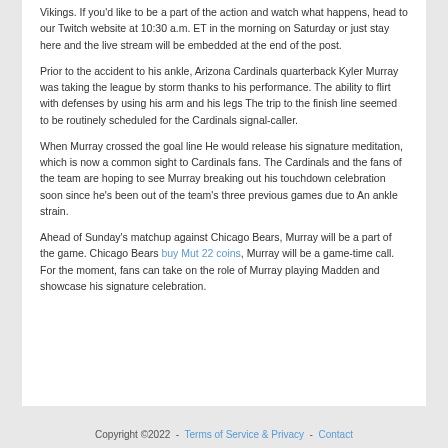Vikings. If you'd like to be a part of the action and watch what happens, head to our Twitch website at 10:30 a.m. ET in the morning on Saturday or just stay here and the live stream will be embedded at the end of the post.
Prior to the accident to his ankle, Arizona Cardinals quarterback Kyler Murray was taking the league by storm thanks to his performance. The ability to flirt with defenses by using his arm and his legs The trip to the finish line seemed to be routinely scheduled for the Cardinals signal-caller.
When Murray crossed the goal line He would release his signature meditation, which is now a common sight to Cardinals fans. The Cardinals and the fans of the team are hoping to see Murray breaking out his touchdown celebration soon since he's been out of the team's three previous games due to An ankle strain.
Ahead of Sunday's matchup against Chicago Bears, Murray will be a part of the game. Chicago Bears buy Mut 22 coins, Murray will be a game-time call. For the moment, fans can take on the role of Murray playing Madden and showcase his signature celebration.
Copyright ©2022  -  Terms of Service & Privacy  -  Contact